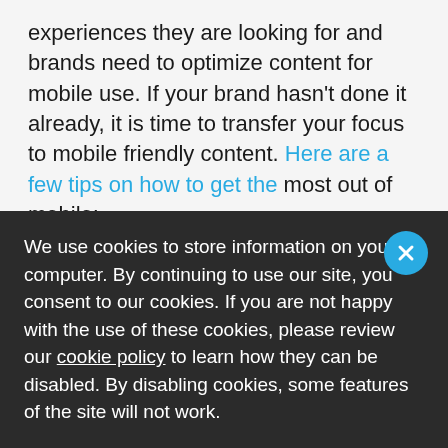experiences they are looking for and brands need to optimize content for mobile use. If your brand hasn't done it already, it is time to transfer your focus to mobile friendly content. Here are a few tips on how to get the most out of mobile:
Optimize Experiences for Mobile
User experience (UX) on mobile devices make or break your relationship with millennial customers. If your mobile site is difficult to navigate, slow, or disconnected
We use cookies to store information on your computer. By continuing to use our site, you consent to our cookies. If you are not happy with the use of these cookies, please review our cookie policy to learn how they can be disabled. By disabling cookies, some features of the site will not work.